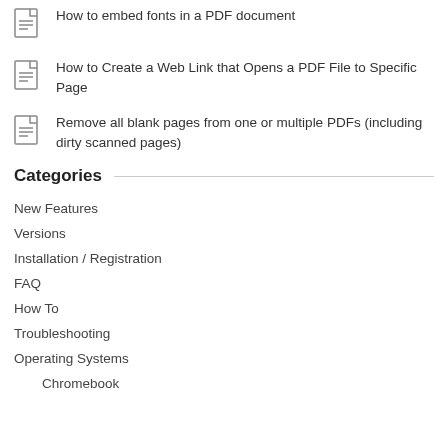How to embed fonts in a PDF document
How to Create a Web Link that Opens a PDF File to Specific Page
Remove all blank pages from one or multiple PDFs (including dirty scanned pages)
Categories
New Features
Versions
Installation / Registration
FAQ
How To
Troubleshooting
Operating Systems
Chromebook